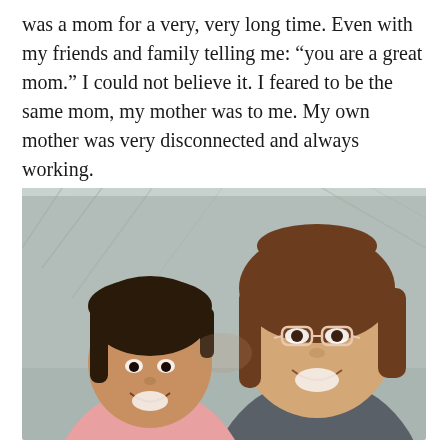was a mom for a very, very long time. Even with my friends and family telling me: “you are a great mom.” I could not believe it. I feared to be the same mom, my mother was to me. My own mother was very disconnected and always working.
[Figure (photo): A smiling woman with glasses and shoulder-length brown hair leaning close to a younger girl with dark hair pulled back, both smiling at the camera. They appear to be indoors with a gray upholstered headboard or wall behind them.]